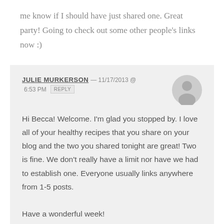me know if I should have just shared one. Great party! Going to check out some other people's links now :)
JULIE MURKERSON — 11/17/2013 @ 6:53 PM REPLY
Hi Becca! Welcome. I'm glad you stopped by. I love all of your healthy recipes that you share on your blog and the two you shared tonight are great! Two is fine. We don't really have a limit nor have we had to establish one. Everyone usually links anywhere from 1-5 posts.
Have a wonderful week!